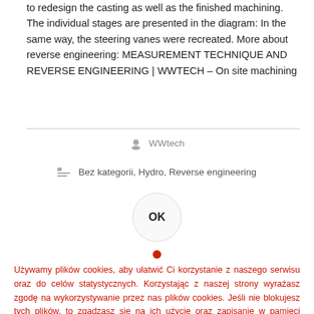to redesign the casting as well as the finished machining. The individual stages are presented in the diagram: In the same way, the steering vanes were recreated. More about reverse engineering: MEASUREMENT TECHNIQUE AND REVERSE ENGINEERING | WWTECH – On site machining
WWtech
Bez kategorii, Hydro, Reverse engineering
OK
Używamy plików cookies, aby ułatwić Ci korzystanie z naszego serwisu oraz do celów statystycznych. Korzystając z naszej strony wyrażasz zgodę na wykorzystywanie przez nas plików cookies. Jeśli nie blokujesz tych plików, to zgadzasz się na ich użycie oraz zapisanie w pamięci urządzenia. Pamiętaj, że możesz samodzielnie zarządzać cookies, zmieniając ustawienia przeglądarki.